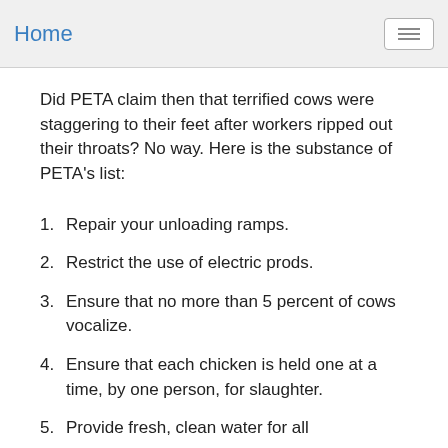Home
Did PETA claim then that terrified cows were staggering to their feet after workers ripped out their throats? No way. Here is the substance of PETA’s list:
1. Repair your unloading ramps.
2. Restrict the use of electric prods.
3. Ensure that no more than 5 percent of cows vocalize.
4. Ensure that each chicken is held one at a time, by one person, for slaughter.
5. Provide fresh, clean water for all